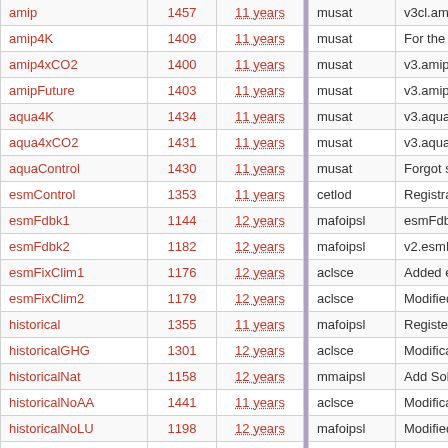| name | id | age |  | user | note |
| --- | --- | --- | --- | --- | --- |
| amip | 1457 | 11 years |  | musat | v3cl.amip2 IPS |
| amip4K | 1409 | 11 years |  | musat | For the month o |
| amip4xCO2 | 1400 | 11 years |  | musat | v3.amip4xCO2 |
| amipFuture | 1403 | 11 years |  | musat | v3.amipFuture |
| aqua4K | 1434 | 11 years |  | musat | v3.aqua4K IPS |
| aqua4xCO2 | 1431 | 11 years |  | musat | v3.aqua4xCO2 |
| aquaControl | 1430 | 11 years |  | musat | Forgot save run |
| esmControl | 1353 | 11 years |  | cetlod | Registration of |
| esmFdbk1 | 1144 | 12 years |  | mafoipsl | esmFdbk12 reg |
| esmFdbk2 | 1182 | 12 years |  | mafoipsl | v2.esmFdbk21 |
| esmFixClim1 | 1176 | 12 years |  | aclsce | Added esmFixC |
| esmFixClim2 | 1179 | 12 years |  | aclsce | Modified histori |
| historical | 1355 | 11 years |  | mafoipsl | Register used o |
| historicalGHG | 1301 | 12 years |  | aclsce | Modifications to |
| historicalNat | 1158 | 12 years |  | mmaipsl | Add Solar and V |
| historicalNoAA | 1441 | 11 years |  | aclsce | Modifications to |
| historicalNoLU | 1198 | 12 years |  | mafoipsl | Modified "v2.his |
| piControl | 1167 | 12 years |  | mafoipsl | piControlMR1 C |
| rcp26 | 1362 | 11 years |  | sdipsl | Update config f |